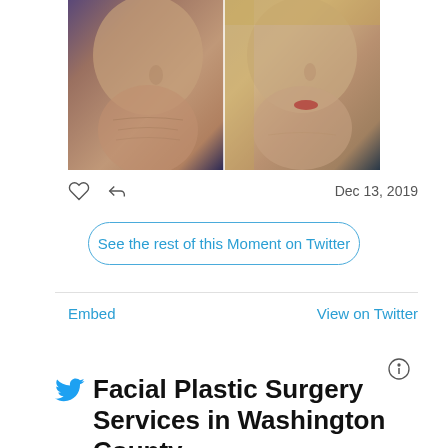[Figure (photo): Before and after side-by-side photos of a woman's face/neck area showing results of facial plastic surgery. Left photo shows before with more visible skin laxity, right photo shows after with tighter appearance.]
[Figure (screenshot): Twitter social media interface showing like/heart icon, share/retweet icon, and date Dec 13, 2019]
See the rest of this Moment on Twitter
Embed
View on Twitter
Facial Plastic Surgery Services in Washington County